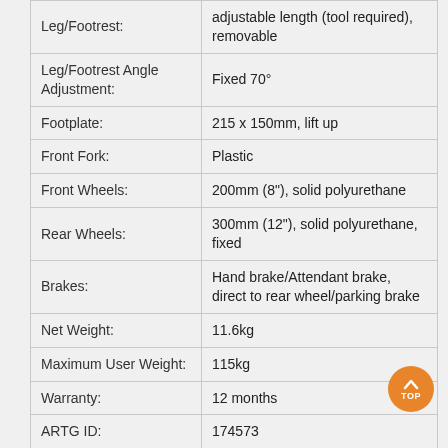| Specification | Value |
| --- | --- |
| Leg/Footrest: | adjustable length (tool required), removable |
| Leg/Footrest Angle Adjustment: | Fixed 70° |
| Footplate: | 215 x 150mm, lift up |
| Front Fork: | Plastic |
| Front Wheels: | 200mm (8"), solid polyurethane |
| Rear Wheels: | 300mm (12"), solid polyurethane, fixed |
| Brakes: | Hand brake/Attendant brake, direct to rear wheel/parking brake |
| Net Weight: | 11.6kg |
| Maximum User Weight: | 115kg |
| Warranty: | 12 months |
| ARTG ID: | 174573 |